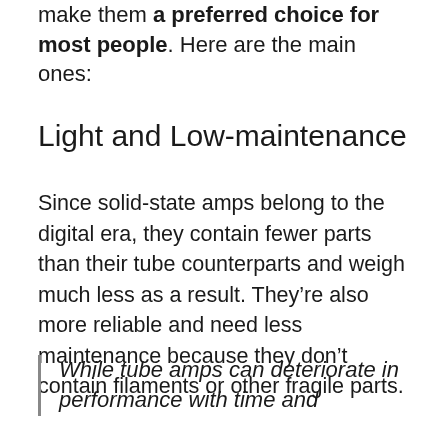make them a preferred choice for most people. Here are the main ones:
Light and Low-maintenance
Since solid-state amps belong to the digital era, they contain fewer parts than their tube counterparts and weigh much less as a result. They’re also more reliable and need less maintenance because they don’t contain filaments or other fragile parts.
While tube amps can deteriorate in performance with time and